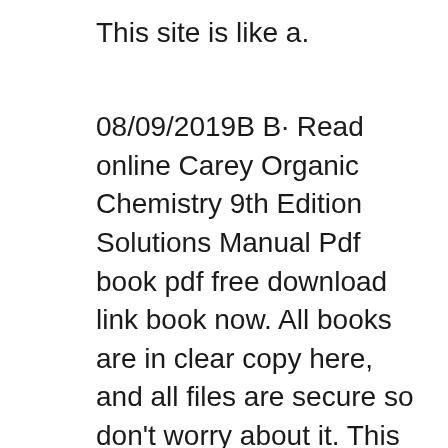This site is like a.
08/09/2019B B· Read online Carey Organic Chemistry 9th Edition Solutions Manual Pdf book pdf free download link book now. All books are in clear copy here, and all files are secure so don't worry about it. This site is like a library, you could find million book here by using search box in the header. 9th edition. PDF organic. pdf Organic Chemistry Carey 9th 08/09/2019B B· Read online Carey Organic Chemistry 9th Edition Solutions Manual Pdf book pdf free download link book now. All books are in clear copy here, and all files are secure so don't worry about it. This site is like a library, you could find